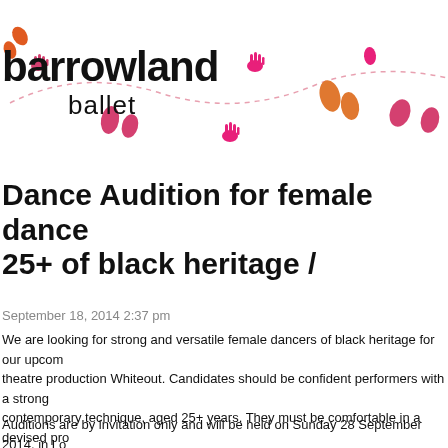[Figure (logo): Barrowland Ballet logo with colourful footprints and handprints on a dashed curved trail. 'barrowland' in large bold black text and 'ballet' below in smaller text.]
Dance Audition for female dance 25+ of black heritage /
September 18, 2014 2:37 pm
We are looking for strong and versatile female dancers of black heritage for our upcoming theatre production Whiteout. Candidates should be confident performers with a strong contemporary technique, aged 25+ years. They must be comfortable in a devised pro choreographer Natasha Gilmore the work will be built through improvisation and explo
Auditions are by invitation only and will be held on Sunday 28 September 2014, in Lo